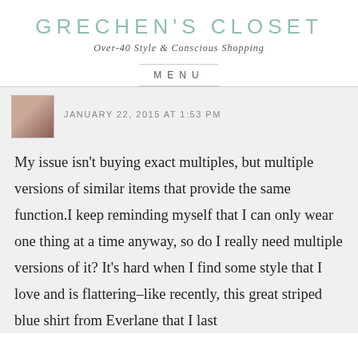GRECHEN'S CLOSET
Over-40 Style & Conscious Shopping
MENU
JANUARY 22, 2015 AT 1:53 PM
My issue isn't buying exact multiples, but multiple versions of similar items that provide the same function.I keep reminding myself that I can only wear one thing at a time anyway, so do I really need multiple versions of it? It's hard when I find some style that I love and is flattering–like recently, this great striped blue shirt from Everlane that I last…